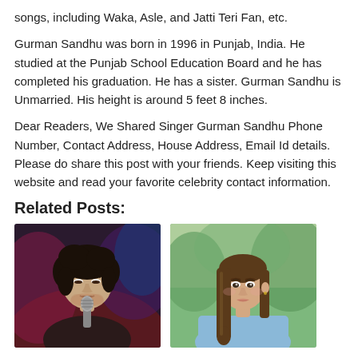songs, including Waka, Asle, and Jatti Teri Fan, etc.
Gurman Sandhu was born in 1996 in Punjab, India. He studied at the Punjab School Education Board and he has completed his graduation. He has a sister. Gurman Sandhu is Unmarried. His height is around 5 feet 8 inches.
Dear Readers, We Shared Singer Gurman Sandhu Phone Number, Contact Address, House Address, Email Id details. Please do share this post with your friends. Keep visiting this website and read your favorite celebrity contact information.
Related Posts:
[Figure (photo): Photo of a dark-haired male singer performing with a microphone, stage lighting in background]
[Figure (photo): Photo of a young woman with long straight brown hair wearing a light blue top, outdoors background]